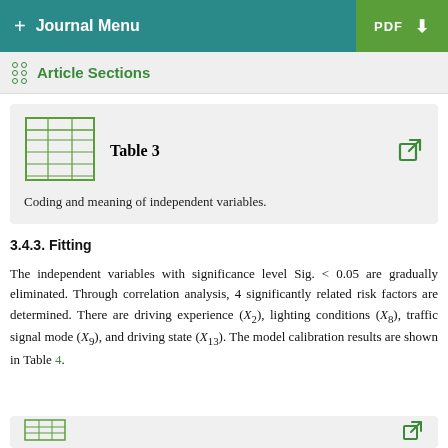+ Journal Menu   PDF ↓
Article Sections
[Figure (table-as-image): Table icon thumbnail with green grid lines]
Table 3
Coding and meaning of independent variables.
3.4.3. Fitting
The independent variables with significance level Sig. < 0.05 are gradually eliminated. Through correlation analysis, 4 significantly related risk factors are determined. There are driving experience (X2), lighting conditions (X8), traffic signal mode (X9), and driving state (X13). The model calibration results are shown in Table 4.